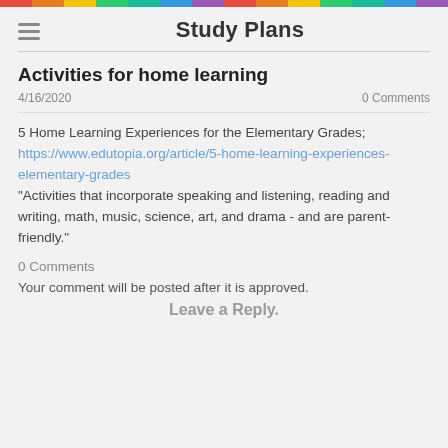Study Plans
Activities for home learning
4/16/2020   0 Comments
5 Home Learning Experiences for the Elementary Grades; https://www.edutopia.org/article/5-home-learning-experiences-elementary-grades
"Activities that incorporate speaking and listening, reading and writing, math, music, science, art, and drama - and are parent-friendly."
0 Comments
Your comment will be posted after it is approved.
Leave a Reply.